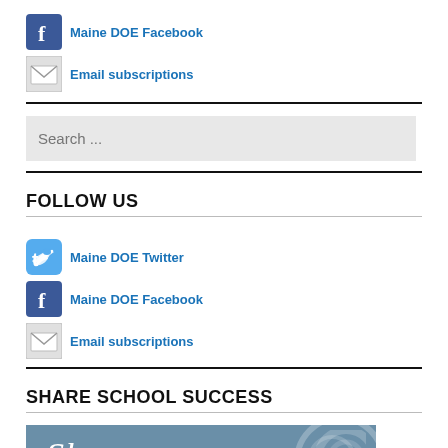Maine DOE Facebook
Email subscriptions
[Figure (other): Search input box with placeholder text 'Search ...']
FOLLOW US
Maine DOE Twitter
Maine DOE Facebook
Email subscriptions
SHARE SCHOOL SUCCESS
[Figure (illustration): Blue banner image with 'Share' text in italic white font and circular design elements]